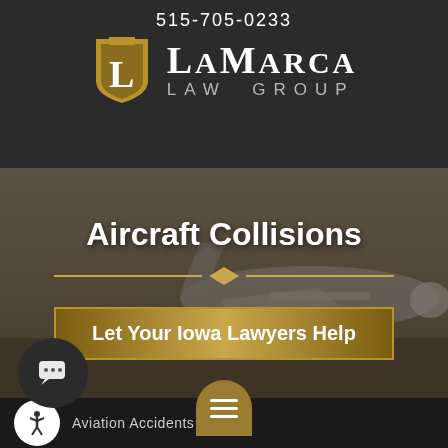515-705-0233
[Figure (logo): LaMarca Law Group logo with gold shield bearing the letter L]
Aircraft Collisions
[Figure (illustration): Background photo of a commercial aircraft on a tarmac, with golden horizontal divider line with diamond center]
Let Your Iowa Lawyers Help
[Figure (other): Chat bubble icon in dark circular button]
Aviation Accidents